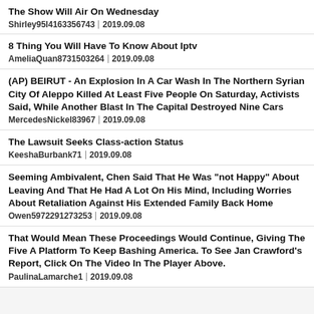The Show Will Air On Wednesday
Shirley95l4163356743 | 2019.09.08
8 Thing You Will Have To Know About Iptv
AmeliaQuan8731503264 | 2019.09.08
(AP) BEIRUT - An Explosion In A Car Wash In The Northern Syrian City Of Aleppo Killed At Least Five People On Saturday, Activists Said, While Another Blast In The Capital Destroyed Nine Cars
MercedesNickel83967 | 2019.09.08
The Lawsuit Seeks Class-action Status
KeeshaBurbank71 | 2019.09.08
Seeming Ambivalent, Chen Said That He Was "not Happy" About Leaving And That He Had A Lot On His Mind, Including Worries About Retaliation Against His Extended Family Back Home
Owen5972291273253 | 2019.09.08
That Would Mean These Proceedings Would Continue, Giving The Five A Platform To Keep Bashing America. To See Jan Crawford's Report, Click On The Video In The Player Above.
PaulinaLamarche1 | 2019.09.08